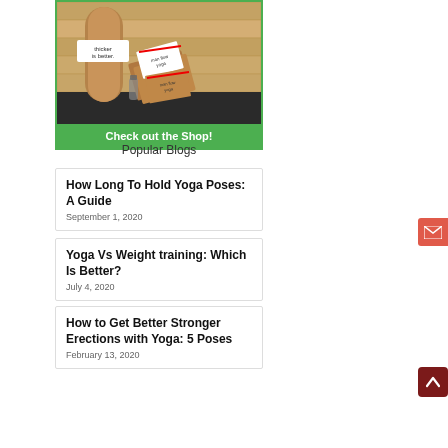[Figure (photo): Photo of yoga cork mat roll and yoga blocks from the shop, with text 'thicker is better' visible on the mat. Green banner at bottom reads 'Check out the Shop!']
Popular Blogs
How Long To Hold Yoga Poses: A Guide
September 1, 2020
Yoga Vs Weight training: Which Is Better?
July 4, 2020
How to Get Better Stronger Erections with Yoga: 5 Poses
February 13, 2020